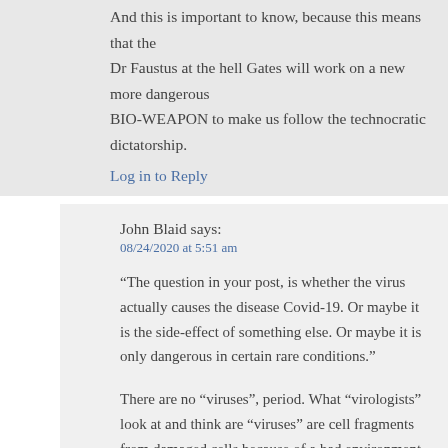And this is important to know, because this means that the Dr Faustus at the hell Gates will work on a new more dangerous BIO-WEAPON to make us follow the technocratic dictatorship.
Log in to Reply
John Blaid says:
08/24/2020 at 5:51 am
“The question in your post, is whether the virus actually causes the disease Covid-19. Or maybe it is the side-effect of something else. Or maybe it is only dangerous in certain rare conditions.”
There are no “viruses”, period. What “virologists” look at and think are “viruses” are cell fragments from damaged cells because of a bad environment that can be caused by poisons. Interestingly,